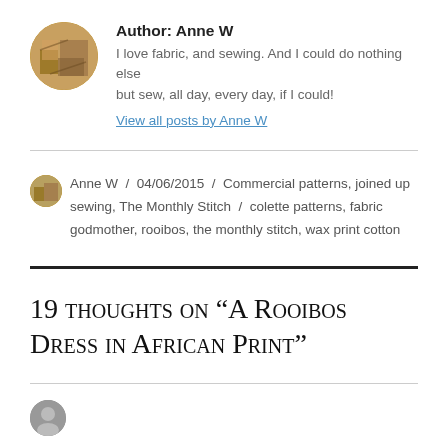Author: Anne W
I love fabric, and sewing. And I could do nothing else but sew, all day, every day, if I could!
View all posts by Anne W
Anne W / 04/06/2015 / Commercial patterns, joined up sewing, The Monthly Stitch / colette patterns, fabric godmother, rooibos, the monthly stitch, wax print cotton
19 thoughts on “A Rooibos Dress in African Print”